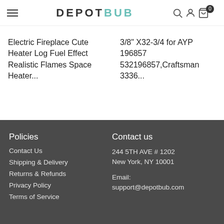DEPOTBUB
Electric Fireplace Cute Heater Log Fuel Effect Realistic Flames Space Heater...
3/8" X32-3/4 for AYP 196857 532196857,Craftsman 3336...
Policies
Contact Us
Shipping & Delivery
Returns & Refunds
Privacy Policy
Terms of Service
Contact us
244 5TH AVE # 1202
New York, NY 10001
Email: support@depotbub.com